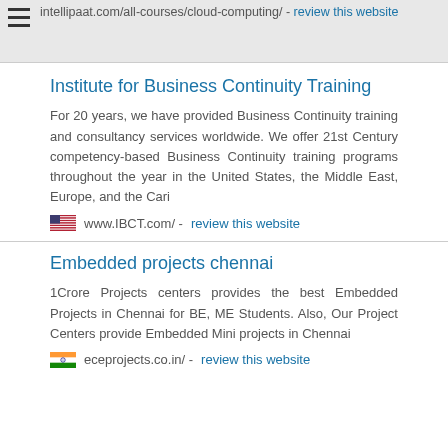intellipaat.com/all-courses/cloud-computing/ - review this website
Institute for Business Continuity Training
For 20 years, we have provided Business Continuity training and consultancy services worldwide. We offer 21st Century competency-based Business Continuity training programs throughout the year in the United States, the Middle East, Europe, and the Cari
www.IBCT.com/ - review this website
Embedded projects chennai
1Crore Projects centers provides the best Embedded Projects in Chennai for BE, ME Students. Also, Our Project Centers provide Embedded Mini projects in Chennai
eceprojects.co.in/ - review this website